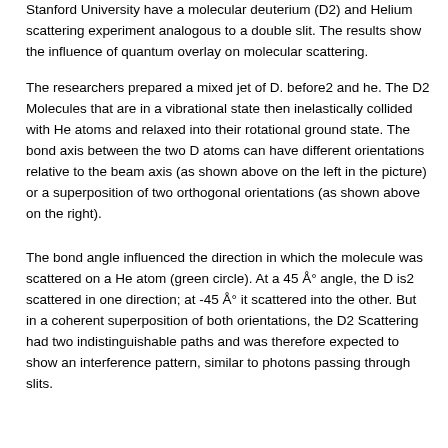Stanford University have a molecular deuterium (D2) and Helium scattering experiment analogous to a double slit. The results show the influence of quantum overlay on molecular scattering.
The researchers prepared a mixed jet of D. before2 and he. The D2 Molecules that are in a vibrational state then inelastically collided with He atoms and relaxed into their rotational ground state. The bond axis between the two D atoms can have different orientations relative to the beam axis (as shown above on the left in the picture) or a superposition of two orthogonal orientations (as shown above on the right).
The bond angle influenced the direction in which the molecule was scattered on a He atom (green circle). At a 45 Å° angle, the D is2 scattered in one direction; at -45 Å° it scattered into the other. But in a coherent superposition of both orientations, the D2 Scattering had two indistinguishable paths and was therefore expected to show an interference pattern, similar to photons passing through slits.